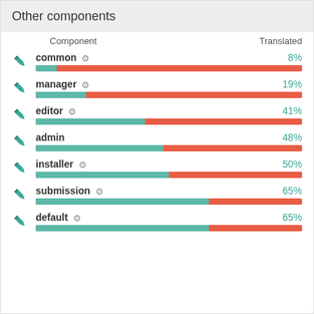Other components
[Figure (grouped-bar-chart): Other components - translation progress]